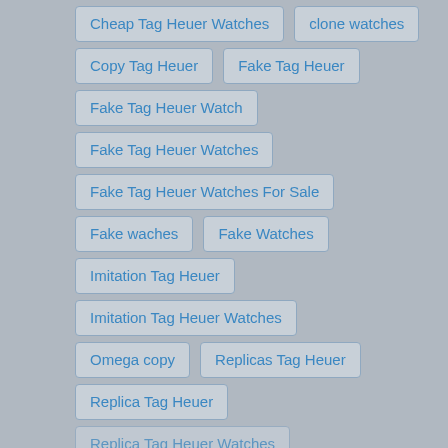Cheap Tag Heuer Watches
clone watches
Copy Tag Heuer
Fake Tag Heuer
Fake Tag Heuer Watch
Fake Tag Heuer Watches
Fake Tag Heuer Watches For Sale
Fake waches
Fake Watches
Imitation Tag Heuer
Imitation Tag Heuer Watches
Omega copy
Replicas Tag Heuer
Replica Tag Heuer
Replica Tag Heuer Watches